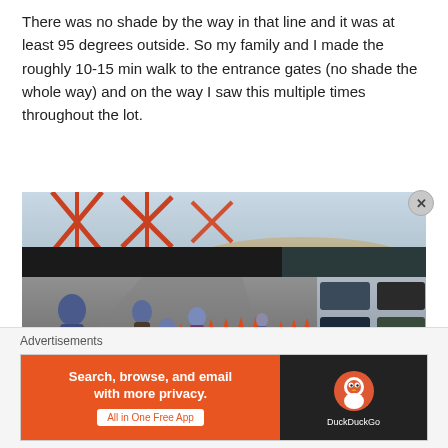There was no shade by the way in that line and it was at least 95 degrees outside. So my family and I made the roughly 10-15 min walk to the entrance gates (no shade the whole way) and on the way I saw this multiple times throughout the lot.
[Figure (photo): Outdoor photo of a theme park parking lot on a hot sunny day. People are walking along a path lined with orange traffic cones toward entrance gates. Roller coaster structure visible in background. Parked cars on the right. Bollards and a trash can in the foreground.]
Advertisements
[Figure (other): DuckDuckGo advertisement banner: 'Search, browse, and email with more privacy. All in One Free App' on orange background, DuckDuckGo logo on black background.]